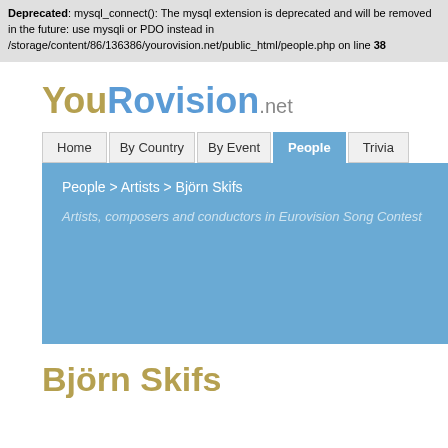Deprecated: mysql_connect(): The mysql extension is deprecated and will be removed in the future: use mysqli or PDO instead in /storage/content/86/136386/yourovision.net/public_html/people.php on line 38
YouRovision.net
Home | By Country | By Event | People | Trivia
People > Artists > Björn Skifs
Artists, composers and conductors in Eurovision Song Contest
Björn Skifs